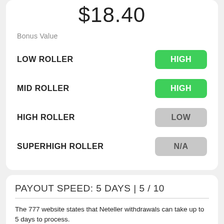$18.40
Bonus Value
|  |  |
| --- | --- |
| LOW ROLLER | HIGH |
| MID ROLLER | HIGH |
| HIGH ROLLER | LOW |
| SUPERHIGH ROLLER | N/A |
PAYOUT SPEED: 5 DAYS | 5 / 10
The 777 website states that Neteller withdrawals can take up to 5 days to process.
Minimum Withdrawal - None listed.
Maximum Withdrawal - None listed.
We recommend using Neteller for speed, convenience and security. To sign-up to Neteller click here.